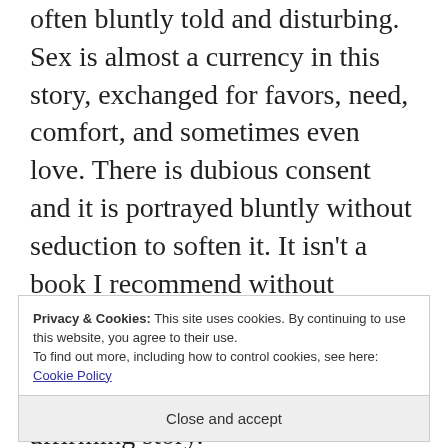often bluntly told and disturbing. Sex is almost a currency in this story, exchanged for favors, need, comfort, and sometimes even love. There is dubious consent and it is portrayed bluntly without seduction to soften it. It isn't a book I recommend without caution, but I do recommend it for those who are willing to spend some time in a dark, but life affirming story.
Privacy & Cookies: This site uses cookies. By continuing to use this website, you agree to their use. To find out more, including how to control cookies, see here: Cookie Policy
Close and accept